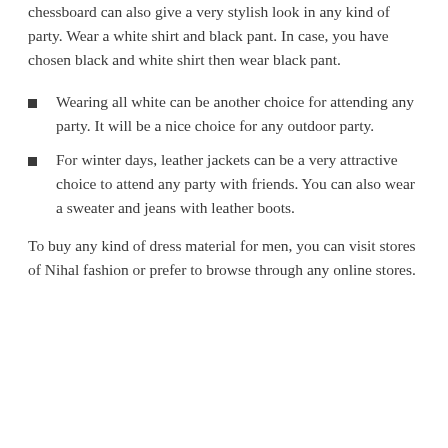chessboard can also give a very stylish look in any kind of party. Wear a white shirt and black pant. In case, you have chosen black and white shirt then wear black pant.
Wearing all white can be another choice for attending any party. It will be a nice choice for any outdoor party.
For winter days, leather jackets can be a very attractive choice to attend any party with friends. You can also wear a sweater and jeans with leather boots.
To buy any kind of dress material for men, you can visit stores of Nihal fashion or prefer to browse through any online stores.